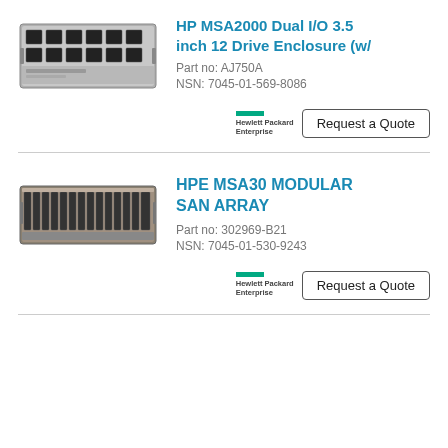[Figure (photo): HP MSA2000 Dual I/O 3.5 inch 12 Drive Enclosure rack server hardware photo]
HP MSA2000 Dual I/O 3.5 inch 12 Drive Enclosure (w/
Part no: AJ750A
NSN: 7045-01-569-8086
[Figure (logo): Hewlett Packard Enterprise logo with green bar]
Request a Quote
[Figure (photo): HPE MSA30 Modular SAN Array rack hardware photo]
HPE MSA30 MODULAR SAN ARRAY
Part no: 302969-B21
NSN: 7045-01-530-9243
[Figure (logo): Hewlett Packard Enterprise logo with green bar]
Request a Quote